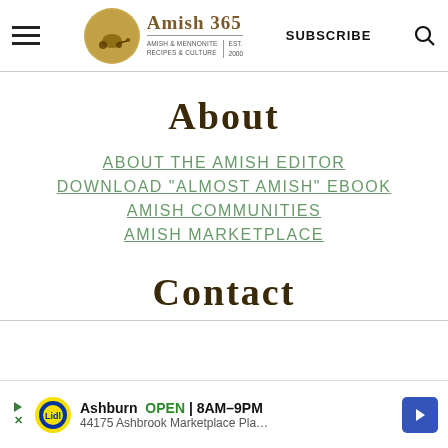Amish 365 — Amish & Mennonite Recipes & Culture | Est. 2000 | SUBSCRIBE
About
ABOUT THE AMISH EDITOR
DOWNLOAD "ALMOST AMISH" EBOOK
AMISH COMMUNITIES
AMISH MARKETPLACE
Contact
Ashburn  OPEN  8AM–9PM  44175 Ashbrook Marketplace Pla…